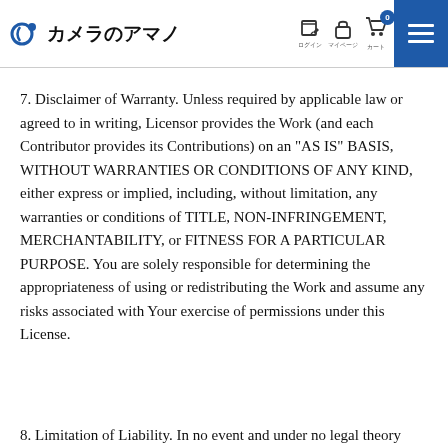カメラのアマノ
7. Disclaimer of Warranty. Unless required by applicable law or agreed to in writing, Licensor provides the Work (and each Contributor provides its Contributions) on an "AS IS" BASIS, WITHOUT WARRANTIES OR CONDITIONS OF ANY KIND, either express or implied, including, without limitation, any warranties or conditions of TITLE, NON-INFRINGEMENT, MERCHANTABILITY, or FITNESS FOR A PARTICULAR PURPOSE. You are solely responsible for determining the appropriateness of using or redistributing the Work and assume any risks associated with Your exercise of permissions under this License.
8. Limitation of Liability. In no event and under no legal theory